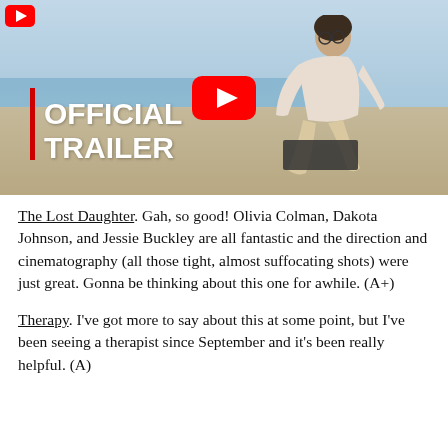[Figure (screenshot): YouTube video thumbnail for 'The Lost Daughter' official trailer. Shows a woman sitting on a beach with a book. Large white bold text reads 'OFFICIAL TRAILER' with a red vertical bar accent. YouTube play button (red rounded rectangle with white triangle) visible in center. Small YouTube logo in top-left corner.]
The Lost Daughter. Gah, so good! Olivia Colman, Dakota Johnson, and Jessie Buckley are all fantastic and the direction and cinematography (all those tight, almost suffocating shots) were just great. Gonna be thinking about this one for awhile. (A+)
Therapy. I've got more to say about this at some point, but I've been seeing a therapist since September and it's been really helpful. (A)